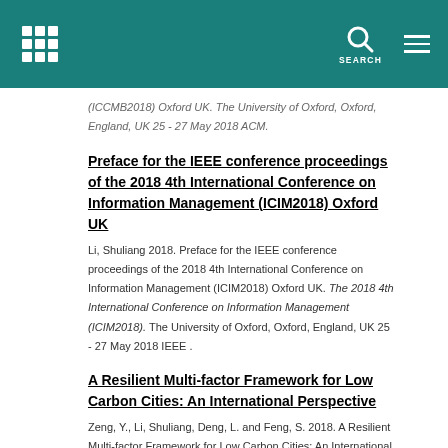SEARCH
(ICCMB2018) Oxford UK. The University of Oxford, Oxford, England, UK 25 - 27 May 2018 ACM.
Preface for the IEEE conference proceedings of the 2018 4th International Conference on Information Management (ICIM2018) Oxford UK
Li, Shuliang 2018. Preface for the IEEE conference proceedings of the 2018 4th International Conference on Information Management (ICIM2018) Oxford UK. The 2018 4th International Conference on Information Management (ICIM2018). The University of Oxford, Oxford, England, UK 25 - 27 May 2018 IEEE .
A Resilient Multi-factor Framework for Low Carbon Cities: An International Perspective
Zeng, Y., Li, Shuliang, Deng, L. and Feng, S. 2018. A Resilient Multi-factor Framework for Low Carbon Cities: An International Perspective. 2018 International Conference on Information